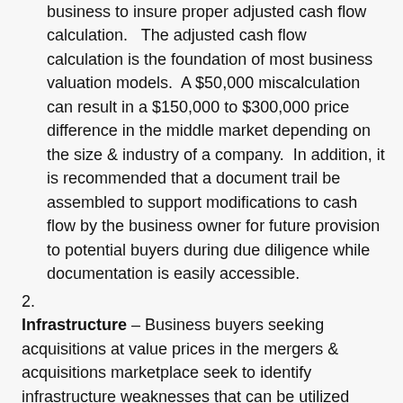business to insure proper adjusted cash flow calculation.   The adjusted cash flow calculation is the foundation of most business valuation models.  A $50,000 miscalculation can result in a $150,000 to $300,000 price difference in the middle market depending on the size & industry of a company.  In addition, it is recommended that a document trail be assembled to support modifications to cash flow by the business owner for future provision to potential buyers during due diligence while documentation is easily accessible.
2. Infrastructure – Business buyers seeking acquisitions at value prices in the mergers & acquisitions marketplace seek to identify infrastructure weaknesses that can be utilized